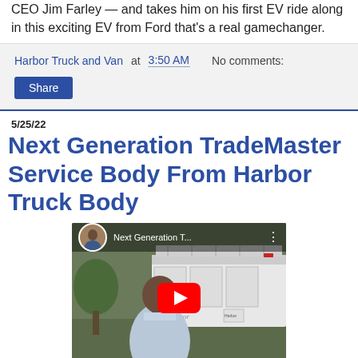CEO Jim Farley — and takes him on his first EV ride along in this exciting EV from Ford that's a real gamechanger.
Harbor Truck and Van at 3:50 AM   No comments:
Share
5/25/22
Next Generation TradeMaster Service Body From Harbor Truck Body
[Figure (screenshot): YouTube video thumbnail showing a man in a light blue shirt standing in front of a white truck service body with Harbor branding. The video title reads 'Next Generation T...' with a YouTube play button overlay.]